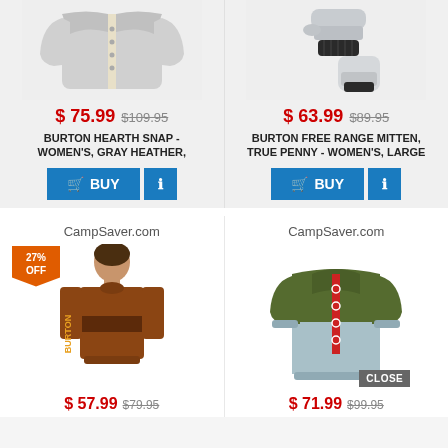[Figure (photo): Gray zip-up jacket, Burton Hearth Snap, Women's]
[Figure (photo): Gray ski mitten/glove, Burton Free Range Mitten]
$ 75.99  $109.95
BURTON HEARTH SNAP - WOMEN'S, GRAY HEATHER,
$ 63.99  $89.95
BURTON FREE RANGE MITTEN, TRUE PENNY - WOMEN'S, LARGE
CampSaver.com
CampSaver.com
[Figure (photo): Burton brown long sleeve shirt worn by model, 27% OFF badge]
[Figure (photo): Burton olive/light blue snap fleece jacket, 27% OFF badge, CLOSE badge]
$ 57.99  $79.95
$ 71.99  $99.95